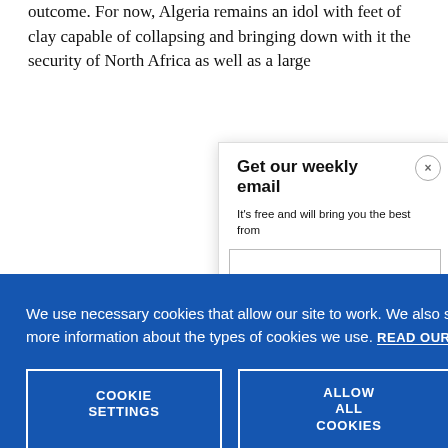outcome. For now, Algeria remains an idol with feet of clay capable of collapsing and bringing down with it the security of North Africa as well as a large
Get our weekly email
It's free and will bring you the best from
We use necessary cookies that allow our site to work. We also set optional cookies that help us improve our website. For more information about the types of cookies we use. READ OUR COOKIES POLICY HERE
COOKIE SETTINGS
ALLOW ALL COOKIES
data.